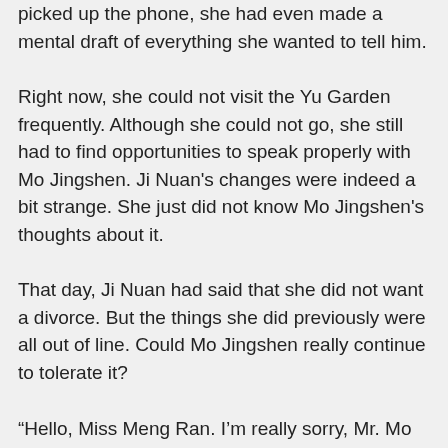picked up the phone, she had even made a mental draft of everything she wanted to tell him.
Right now, she could not visit the Yu Garden frequently. Although she could not go, she still had to find opportunities to speak properly with Mo Jingshen. Ji Nuan's changes were indeed a bit strange. She just did not know Mo Jingshen's thoughts about it.
That day, Ji Nuan had said that she did not want a divorce. But the things she did previously were all out of line. Could Mo Jingshen really continue to tolerate it?
“Hello, Miss Meng Ran. I’m really sorry, Mr. Mo is